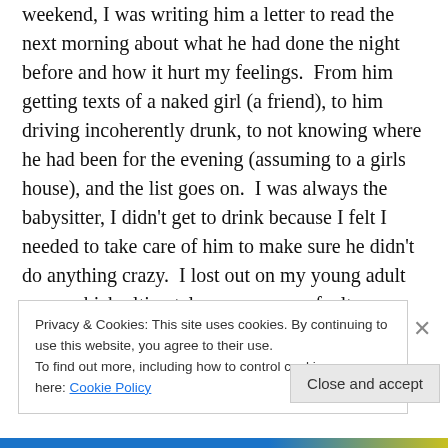weekend, I was writing him a letter to read the next morning about what he had done the night before and how it hurt my feelings.  From him getting texts of a naked girl (a friend), to him driving incoherently drunk, to not knowing where he had been for the evening (assuming to a girls house), and the list goes on.  I was always the babysitter, I didn't get to drink because I felt I needed to take care of him to make sure he didn't do anything crazy.  I lost out on my young adult years which ultimately was my own fault.
Privacy & Cookies: This site uses cookies. By continuing to use this website, you agree to their use.
To find out more, including how to control cookies, see here: Cookie Policy
Close and accept